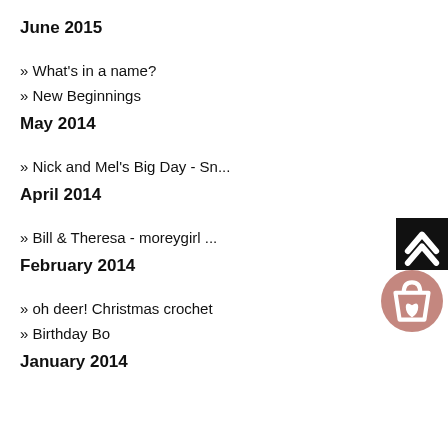June 2015
» What's in a name?
» New Beginnings
May 2014
» Nick and Mel's Big Day - Sn...
April 2014
» Bill & Theresa - moreygirl ...
February 2014
» oh deer! Christmas crochet
» Birthday Bo
January 2014